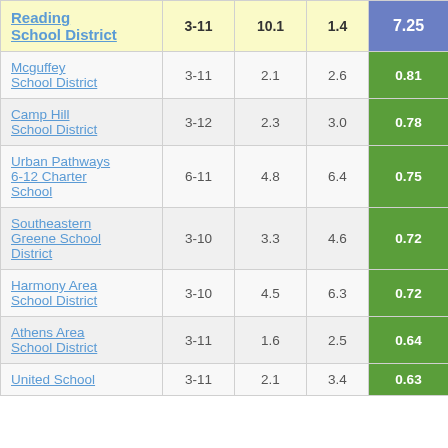| School District | Grades | Col3 | Col4 | Score |
| --- | --- | --- | --- | --- |
| Reading School District | 3-11 | 10.1 | 1.4 | 7.25 |
| Mcguffey School District | 3-11 | 2.1 | 2.6 | 0.81 |
| Camp Hill School District | 3-12 | 2.3 | 3.0 | 0.78 |
| Urban Pathways 6-12 Charter School | 6-11 | 4.8 | 6.4 | 0.75 |
| Southeastern Greene School District | 3-10 | 3.3 | 4.6 | 0.72 |
| Harmony Area School District | 3-10 | 4.5 | 6.3 | 0.72 |
| Athens Area School District | 3-11 | 1.6 | 2.5 | 0.64 |
| United School | 3-11 | 2.1 | 3.4 | 0.63 |